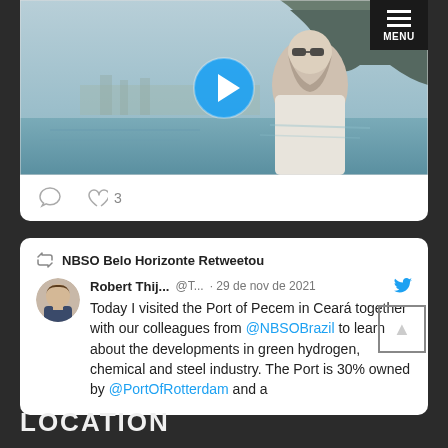[Figure (screenshot): Video thumbnail showing a man in white shirt with sunglasses outdoors near water and mountains, with a blue play button overlay]
[Figure (screenshot): Social icons: comment bubble and heart with count '3']
NBSO Belo Horizonte Retweetou
Robert Thij... @T... · 29 de nov de 2021
Today I visited the Port of Pecem in Ceará together with our colleagues from @NBSOBrazil to learn about the developments in green hydrogen, chemical and steel industry. The Port is 30% owned by @PortOfRotterdam and a
LOCATION